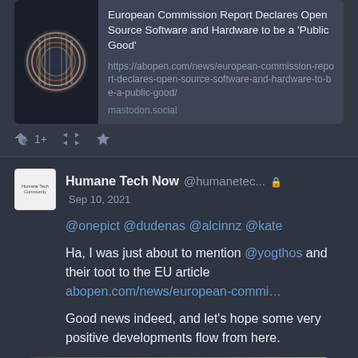[Figure (screenshot): Social media post screenshot showing a shared link card with an image and text about European Commission Report on Open Source Software, and a reply post from Humane Tech Now account]
European Commission Report Declares Open Source Software and Hardware to be a 'Public Good' https://abopen.com/news/european-commission-report-declares-open-source-software-and-hardware-to-be-a-public-good/
mastodon.social
1+
Humane Tech Now @humanetec... Sep 10, 2021
@onepict @dudenas @alcinnz @kate

Ha, I was just about to mention @yogthos and their toot to the EU article abopen.com/news/european-commi...

Good news indeed, and let's hope some very positive developments flow from here.